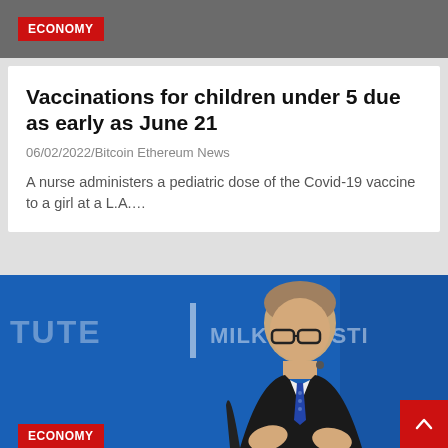ECONOMY
Vaccinations for children under 5 due as early as June 21
06/02/2022/Bitcoin Ethereum News
A nurse administers a pediatric dose of the Covid-19 vaccine to a girl at a L.A....
[Figure (photo): Man in dark suit with blue tie speaking at Milken Institute event, blue backdrop with institute logo]
ECONOMY